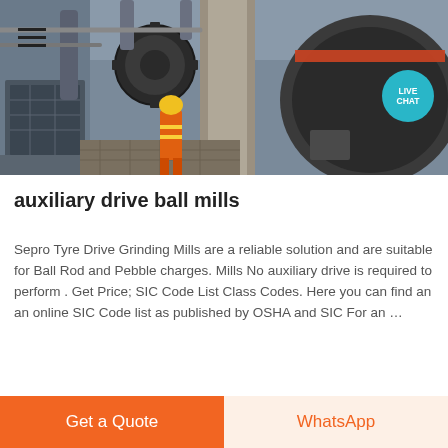[Figure (photo): Industrial ball mill facility interior showing large cylindrical grinding mill equipment with a worker in orange safety clothing and yellow hard hat standing in the foreground. Heavy industrial machinery and piping visible.]
auxiliary drive ball mills
Sepro Tyre Drive Grinding Mills are a reliable solution and are suitable for Ball Rod and Pebble charges. Mills No auxiliary drive is required to perform . Get Price; SIC Code List Class Codes. Here you can find an an online SIC Code list as published by OSHA and SIC For an …